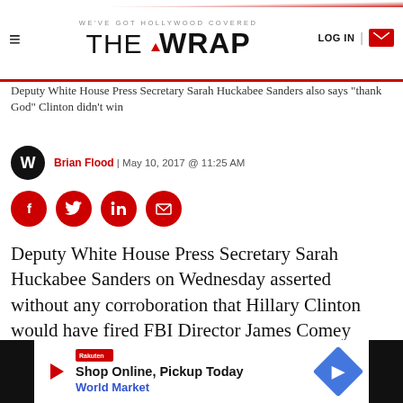WE'VE GOT HOLLYWOOD COVERED — THE WRAP | LOG IN
Deputy White House Press Secretary Sarah Huckabee Sanders also says “thank God” Clinton didn’t win
Brian Flood | May 10, 2017 @ 11:25 AM
[Figure (infographic): Social sharing icons: Facebook, Twitter, LinkedIn, Email — all red circles]
Deputy White House Press Secretary Sarah Huckabee Sanders on Wednesday asserted without any corroboration that Hillary Clinton would have fired FBI Director James Comey “immediately” had she won the election last fall. She added, “thank God she didn’t [win].”
[Figure (infographic): Advertisement banner: Shop Online, Pickup Today — World Market, with navigation arrow diamond icon]